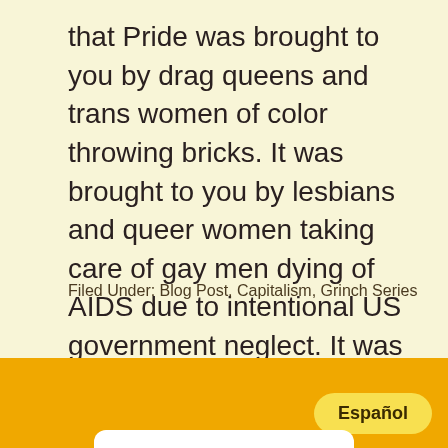that Pride was brought to you by drag queens and trans women of color throwing bricks. It was brought to you by lesbians and queer women taking care of gay men dying of AIDS due to intentional US government neglect. It was not brought to you by T-Mobile.
Filed Under: Blog Post, Capitalism, Grinch Series
Español